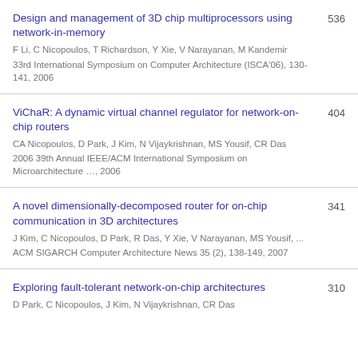Design and management of 3D chip multiprocessors using network-in-memory | F Li, C Nicopoulos, T Richardson, Y Xie, V Narayanan, M Kandemir | 33rd International Symposium on Computer Architecture (ISCA'06), 130-141, 2006 | 536
ViChaR: A dynamic virtual channel regulator for network-on-chip routers | CA Nicopoulos, D Park, J Kim, N Vijaykrishnan, MS Yousif, CR Das | 2006 39th Annual IEEE/ACM International Symposium on Microarchitecture …, 2006 | 404
A novel dimensionally-decomposed router for on-chip communication in 3D architectures | J Kim, C Nicopoulos, D Park, R Das, Y Xie, V Narayanan, MS Yousif, ... | ACM SIGARCH Computer Architecture News 35 (2), 138-149, 2007 | 341
Exploring fault-tolerant network-on-chip architectures | D Park, C Nicopoulos, J Kim, N Vijaykrishnan, CR Das | 310